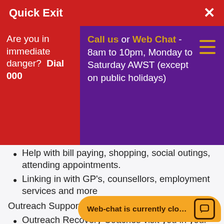Quick Exit  ×
Are you in immediate danger? Dial 000
Call us or Web Chat - 8am to 10pm, Monday to Saturday AWST (except on public holidays)
Help with bill paying, shopping, social outings, attending appointments.
Linking in with GP's, counsellors, employment services and more
Outreach Support:
Outreach Recovery Coaches visit you in your home or in the community to provide advocacy, support and assistance with your daily life and recovery goals.
Your GP, psy... can refer yo...
Web-chat is currently clo...